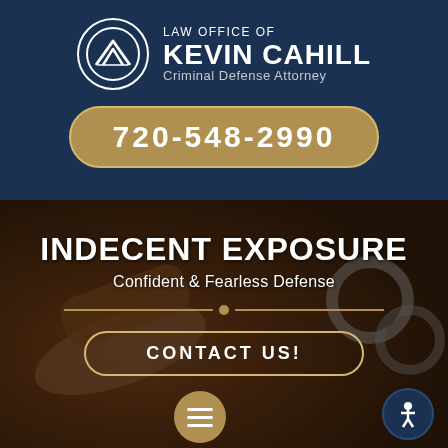[Figure (logo): Law Office of Kevin Cahill logo with mountain/arrow emblem in circle]
LAW OFFICE OF KEVIN CAHILL Criminal Defense Attorney
720-548-2990
[Figure (photo): Background photo of wooden gavel and metal handcuffs on dark surface]
INDECENT EXPOSURE
Confident & Fearless Defense
CONTACT US!